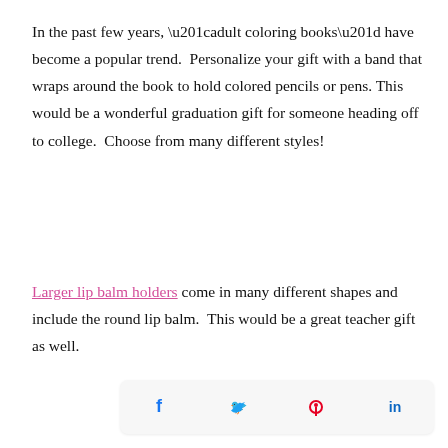In the past few years, “adult coloring books” have become a popular trend. Personalize your gift with a band that wraps around the book to hold colored pencils or pens. This would be a wonderful graduation gift for someone heading off to college. Choose from many different styles!
Larger lip balm holders come in many different shapes and include the round lip balm. This would be a great teacher gift as well.
[Figure (other): Social share bar with Facebook, Twitter, Pinterest, and LinkedIn icons]